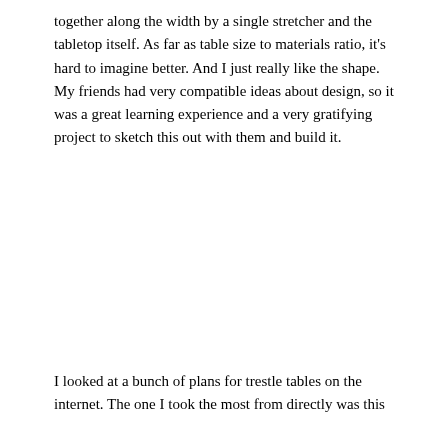together along the width by a single stretcher and the tabletop itself. As far as table size to materials ratio, it's hard to imagine better. And I just really like the shape. My friends had very compatible ideas about design, so it was a great learning experience and a very gratifying project to sketch this out with them and build it.
I looked at a bunch of plans for trestle tables on the internet. The one I took the most from directly was this